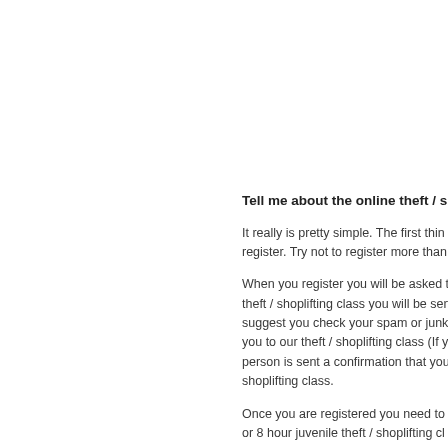Tell me about the online theft / shop…
It really is pretty simple. The first thing you need to do is register. Try not to register more than …
When you register you will be asked t… theft / shoplifting class you will be se… suggest you check your spam or junk-… you to our theft / shoplifting class (If y… person is sent a confirmation that you… shoplifting class.
Once you are registered you need to p… or 8 hour juvenile theft / shoplifting cl…
Pick your class, click on the PayPal/C…